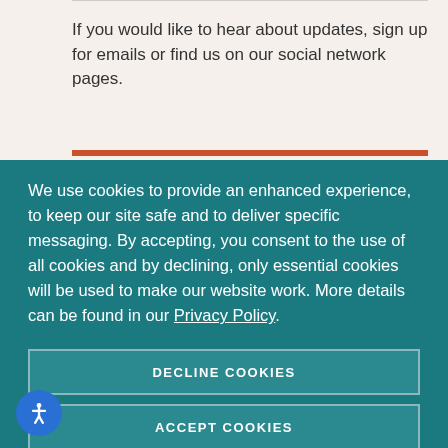If you would like to hear about updates, sign up for emails or find us on our social network pages.
We use cookies to provide an enhanced experience, to keep our site safe and to deliver specific messaging. By accepting, you consent to the use of all cookies and by declining, only essential cookies will be used to make our website work. More details can be found in our Privacy Policy.
DECLINE COOKIES
ACCEPT COOKIES